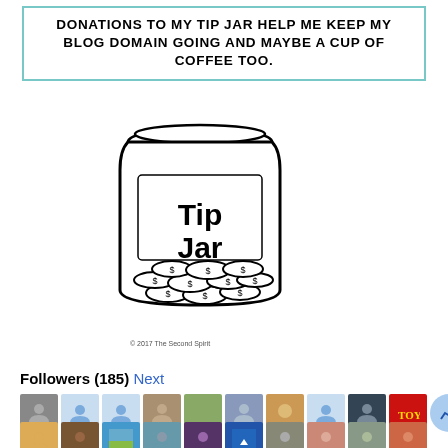DONATIONS TO MY TIP JAR HELP ME KEEP MY BLOG DOMAIN GOING AND MAYBE A CUP OF COFFEE TOO.
[Figure (illustration): Illustration of a glass tip jar filled with coins showing dollar signs, labeled 'Tip Jar']
© 2017 The Second Spirit
Followers (185) Next
[Figure (photo): Row 1 of follower avatar thumbnails, 11 avatars]
[Figure (photo): Row 2 of follower avatar thumbnails, 9 avatars]